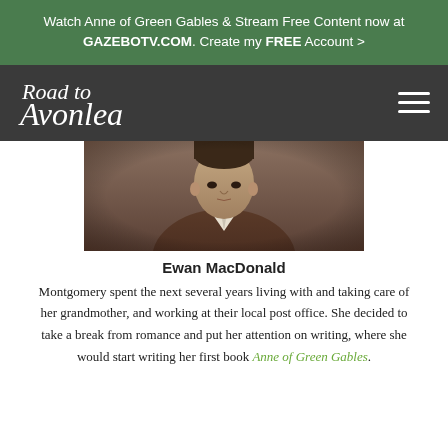Watch Anne of Green Gables & Stream Free Content now at GAZEBOTV.COM. Create my FREE Account >
[Figure (screenshot): Road to Avonlea website navigation bar with logo and hamburger menu icon on dark background]
[Figure (photo): Sepia-toned portrait photograph of Ewan MacDonald, showing head and upper torso, wearing a dark suit and white collar]
Ewan MacDonald
Montgomery spent the next several years living with and taking care of her grandmother, and working at their local post office. She decided to take a break from romance and put her attention on writing, where she would start writing her first book Anne of Green Gables.